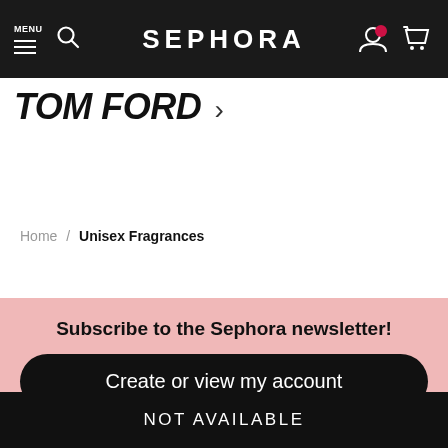MENU  [hamburger]  [search]  SEPHORA  [account] [cart]
TOM FORD ›
Home / Unisex Fragrances
Subscribe to the Sephora newsletter!
Create or view my account
[Figure (screenshot): Partial checkmark icon with horizontal lines, partially visible UI element]
NOT AVAILABLE